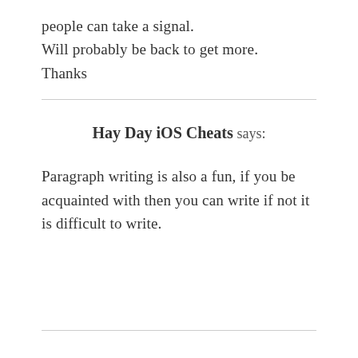people can take a signal.
Will probably be back to get more.
Thanks
Hay Day iOS Cheats says:
Paragraph writing is also a fun, if you be acquainted with then you can write if not it is difficult to write.